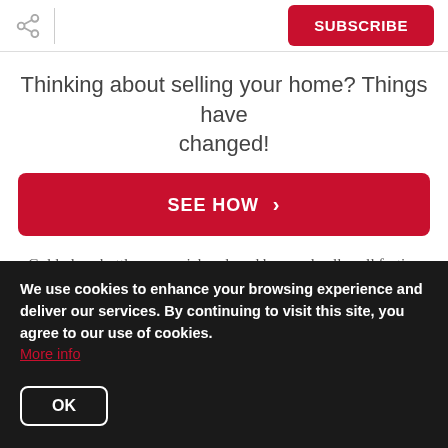SUBSCRIBE
Thinking about selling your home? Things have changed!
SEE HOW ›
Gold, deep bottle green, rich red, and burgundy all spell festive and elegant, and this can be the perfect color scheme for your royal Christmas theme this year! Luxe selection of finishes and patterns from glittered to beaded, velvet to plaid, that you can find in shops
We use cookies to enhance your browsing experience and deliver our services. By continuing to visit this site, you agree to our use of cookies. More info
OK